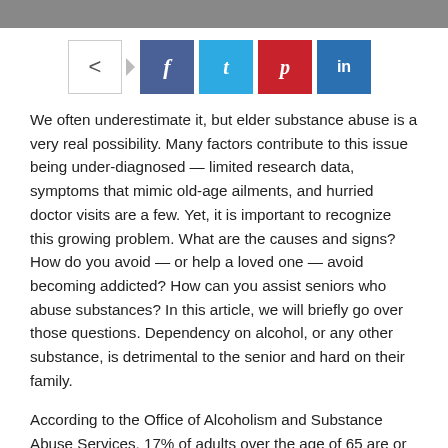[Figure (other): Social media share bar with share icon button, Facebook, Twitter, Pinterest, and LinkedIn buttons]
We often underestimate it, but elder substance abuse is a very real possibility. Many factors contribute to this issue being under-diagnosed — limited research data, symptoms that mimic old-age ailments, and hurried doctor visits are a few. Yet, it is important to recognize this growing problem. What are the causes and signs? How do you avoid — or help a loved one — avoid becoming addicted? How can you assist seniors who abuse substances? In this article, we will briefly go over those questions. Dependency on alcohol, or any other substance, is detrimental to the senior and hard on their family.
According to the Office of Alcoholism and Substance Abuse Services, 17% of adults over the age of 65 are or have been